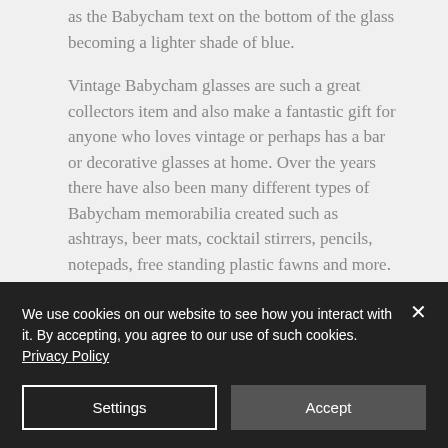as the Babycham text on the bottom of the glass becoming a lighter shade of blue.
Vintage Babycham glasses are such a great collectors item and also make a fantastic gift for anyone who loves vintage or perhaps has a bar or decorative glasses at home. Over the years there have also been many different types of Babycham memorabilia created such as ashtrays, beer mats, cocktail stirrers, pencils, notepads, free standing plastic fawns and more.
We use cookies on our website to see how you interact with it. By accepting, you agree to our use of such cookies. Privacy Policy